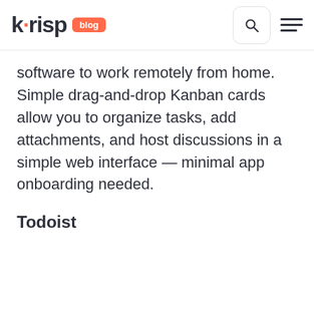krisp blog
software to work remotely from home. Simple drag-and-drop Kanban cards allow you to organize tasks, add attachments, and host discussions in a simple web interface — minimal app onboarding needed.
Todoist